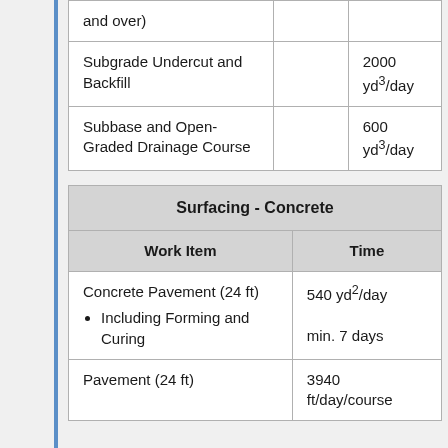|  |  |  |
| --- | --- | --- |
| and over) |  |  |
| Subgrade Undercut and Backfill |  | 2000 yd³/day |
| Subbase and Open-Graded Drainage Course |  | 600 yd³/day |
| Surfacing - Concrete |  |
| --- | --- |
| Work Item | Time |
| Concrete Pavement (24 ft)
• Including Forming and Curing | 540 yd²/day
min. 7 days |
| Pavement (24 ft) | 3940 ft/day/course |